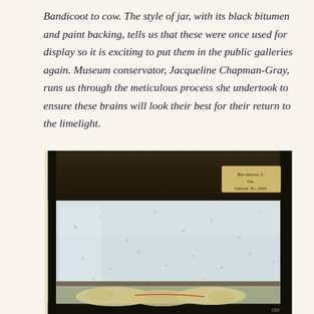Bandicoot to cow. The style of jar, with its black bitumen and paint backing, tells us that these were once used for display so it is exciting to put them in the public galleries again. Museum conservator, Jacqueline Chapman-Gray, runs us through the meticulous process she undertook to ensure these brains will look their best for their return to the limelight.
[Figure (photo): A museum specimen jar with black bitumen and paint backing containing a preserved brain specimen submerged in clear fluid. A small label in the upper right corner reads 'Bos taurus, L. Ox. Oxford. No. 2001'. The jar shows condensation on the glass.]